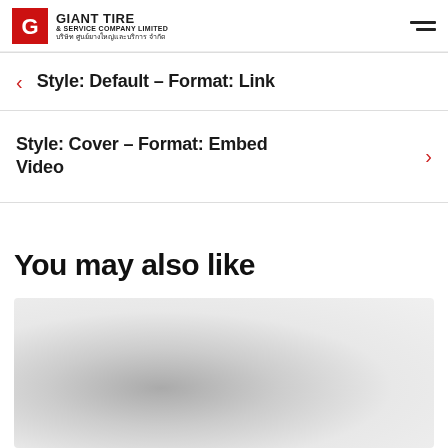Giant Tire & Service Company Limited
Style: Default – Format: Link
Style: Cover – Format: Embed Video
You may also like
[Figure (photo): Blurred grey preview image of a product or article thumbnail]